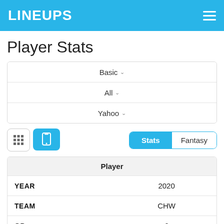LINEUPS
Player Stats
Basic ∨
All ∨
Yahoo ∨
|  | Player |
| --- | --- |
| YEAR | 2020 |
| TEAM | CHW |
| GP | 6 |
| Fantasy Points |  |